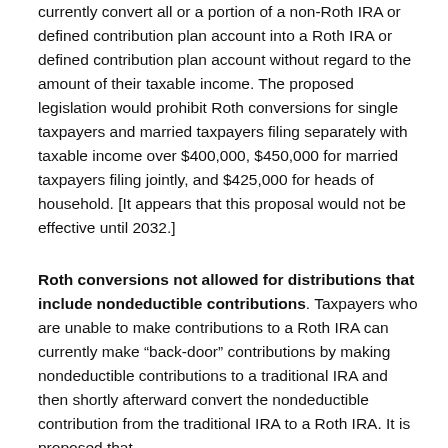currently convert all or a portion of a non-Roth IRA or defined contribution plan account into a Roth IRA or defined contribution plan account without regard to the amount of their taxable income. The proposed legislation would prohibit Roth conversions for single taxpayers and married taxpayers filing separately with taxable income over $400,000, $450,000 for married taxpayers filing jointly, and $425,000 for heads of household. [It appears that this proposal would not be effective until 2032.]
Roth conversions not allowed for distributions that include nondeductible contributions. Taxpayers who are unable to make contributions to a Roth IRA can currently make “back-door” contributions by making nondeductible contributions to a traditional IRA and then shortly afterward convert the nondeductible contribution from the traditional IRA to a Roth IRA. It is proposed that